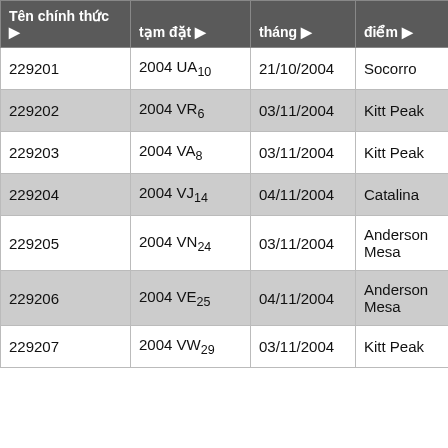| Tên chính thức | tạm đặt | tháng | điểm |
| --- | --- | --- | --- |
| 229201 | 2004 UA₁₀ | 21/10/2004 | Socorro |
| 229202 | 2004 VR₆ | 03/11/2004 | Kitt Peak |
| 229203 | 2004 VA₈ | 03/11/2004 | Kitt Peak |
| 229204 | 2004 VJ₁₄ | 04/11/2004 | Catalina |
| 229205 | 2004 VN₂₄ | 03/11/2004 | Anderson Mesa |
| 229206 | 2004 VE₂₅ | 04/11/2004 | Anderson Mesa |
| 229207 | 2004 VW₂₉ | 03/11/2004 | Kitt Peak |